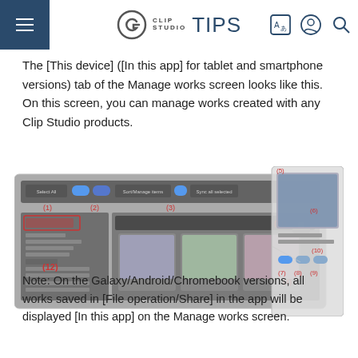CLIP STUDIO TIPS
The [This device] ([In this app] for tablet and smartphone versions) tab of the Manage works screen looks like this. On this screen, you can manage works created with any Clip Studio products.
[Figure (screenshot): Screenshot of Clip Studio Manage works screen showing labeled UI elements (1) through (12), including toolbar buttons, work thumbnails, and a detail panel on the right side]
Note: On the Galaxy/Android/Chromebook versions, all works saved in [File operation/Share] in the app will be displayed [In this app] on the Manage works screen.